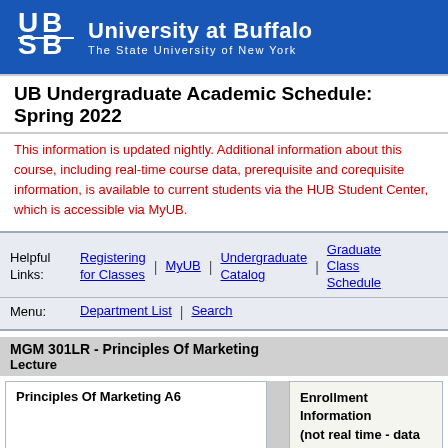[Figure (logo): University at Buffalo logo — UB shield mark in white with text 'University at Buffalo / The State University of New York' on blue background]
UB Undergraduate Academic Schedule: Spring 2022
This information is updated nightly. Additional information about this course, including real-time course data, prerequisite and corequisite information, is available to current students via the HUB Student Center, which is accessible via MyUB.
| Helpful Links: | Registering for Classes | | | MyUB | | | Undergraduate Catalog | | | Graduate Class Schedule |
| Menu: | Department List | | | Search |
MGM 301LR - Principles Of Marketing
Lecture
Principles Of Marketing A6
Enrollment Information (not real time - data refreshed nightly)